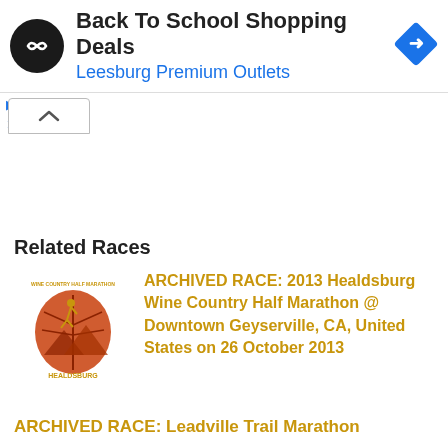[Figure (screenshot): Advertisement banner for Back To School Shopping Deals at Leesburg Premium Outlets with black circular logo, blue arrow icon, and ad controls]
[Figure (other): Collapse/fold button UI element (chevron up arrow in a box)]
Related Races
[Figure (logo): Wine Country Half Marathon logo with fall leaves and runner silhouette]
ARCHIVED RACE: 2013 Healdsburg Wine Country Half Marathon @ Downtown Geyserville, CA, United States on 26 October 2013
ARCHIVED RACE: Leadville Trail Marathon